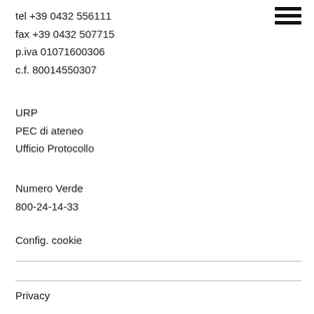tel +39 0432 556111
fax +39 0432 507715
p.iva 01071600306
c.f. 80014550307
[Figure (other): hamburger menu icon (three horizontal bars)]
URP
PEC di ateneo
Ufficio Protocollo
Numero Verde
800-24-14-33
Config. cookie
Privacy